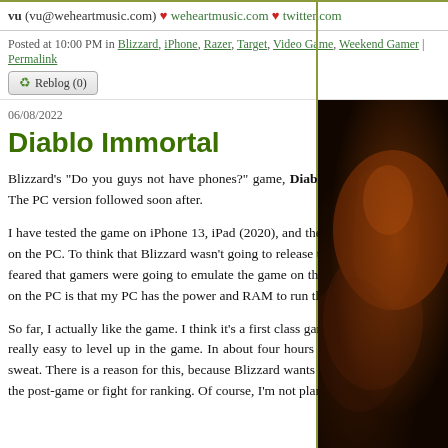vu (vu@weheartmusic.com) ♥ weheartmusic.com ♥ twitter.com
Posted at 10:00 PM in Blizzard, iPhone, Razer, Target, Video Game, Weekend Gamer | Permalink
Reblog (0)
06/08/2022
Diablo Immortal
Blizzard's "Do you guys not have phones?" game, Diablo Immortal launched on iOS and Android on June 1st. The PC version followed soon after.
I have tested the game on iPhone 13, iPad (2020), and the PC. I have to say, the best experience, at least for me, is on the PC. To think that Blizzard wasn't going to release the game on the PC, but changed their mind because they feared that gamers were going to emulate the game on the PC anyway. The main reason why the game is superior on the PC is that my PC has the power and RAM to run the game well… plus you have physical buttons.
So far, I actually like the game. I think it's a first class game, as only Blizzard can deliver. Personally speaking, it's really easy to level up in the game. In about four hours of game play, I've leveled up to 20, not even breaking a sweat. There is a reason for this, because Blizzard wants you to beat the base game so that you'll spend money for the post-game or fight for ranking. Of course, I'm not planning
[Figure (illustration): Dark atmospheric game artwork showing shadowy figures or scenery from Diablo Immortal, rendered in deep oranges, reds, and blacks]